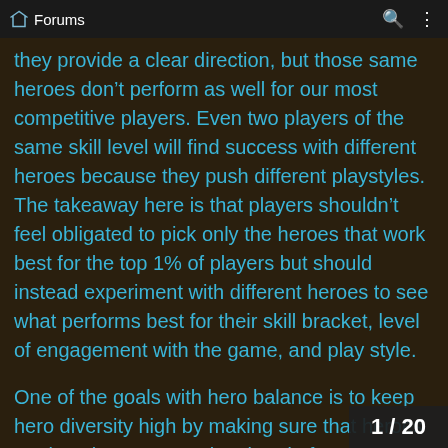Forums
they provide a clear direction, but those same heroes don’t perform as well for our most competitive players. Even two players of the same skill level will find success with different heroes because they push different playstyles. The takeaway here is that players shouldn’t feel obligated to pick only the heroes that work best for the top 1% of players but should instead experiment with different heroes to see what performs best for their skill bracket, level of engagement with the game, and play style.
One of the goals with hero balance is to keep hero diversity high by making sure that heroes are kept in an appropriate band of power. W... abilit...
1 / 20